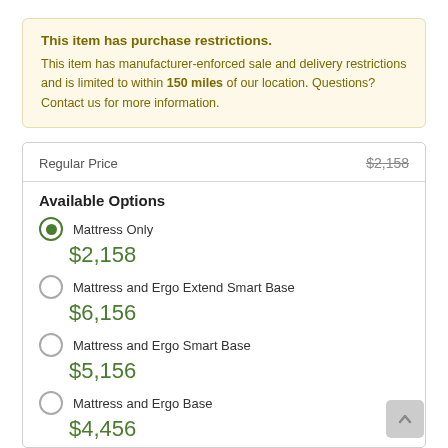This item has purchase restrictions. This item has manufacturer-enforced sale and delivery restrictions and is limited to within 150 miles of our location. Questions? Contact us for more information.
Regular Price $2,158
Available Options
Mattress Only $2,158
Mattress and Ergo Extend Smart Base $6,156
Mattress and Ergo Smart Base $5,156
Mattress and Ergo Base $4,456